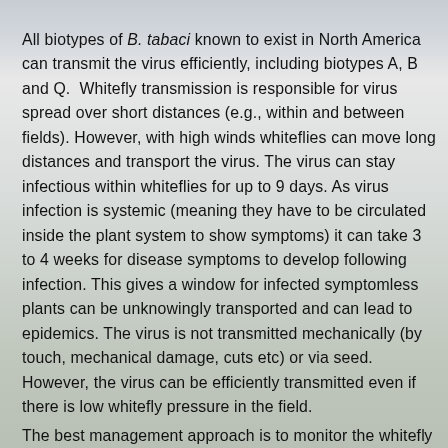All biotypes of B. tabaci known to exist in North America can transmit the virus efficiently, including biotypes A, B and Q.  Whitefly transmission is responsible for virus spread over short distances (e.g., within and between fields). However, with high winds whiteflies can move long distances and transport the virus. The virus can stay infectious within whiteflies for up to 9 days. As virus infection is systemic (meaning they have to be circulated inside the plant system to show symptoms) it can take 3 to 4 weeks for disease symptoms to develop following infection. This gives a window for infected symptomless plants can be unknowingly transported and can lead to epidemics. The virus is not transmitted mechanically (by touch, mechanical damage, cuts etc) or via seed. However, the virus can be efficiently transmitted even if there is low whitefly pressure in the field.
The best management approach is to monitor the whitefl...